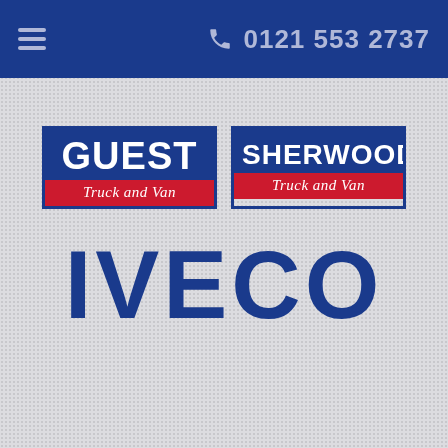≡  📞 0121 553 2737
[Figure (logo): GUEST Truck and Van logo — blue rectangle with GUEST in white bold text, red strip below with 'Truck and Van' in white italic]
[Figure (logo): SHERWOOD Truck and Van logo — blue rectangle with SHERWOOD in white bold text, red strip below with 'Truck and Van' in white italic]
IVECO